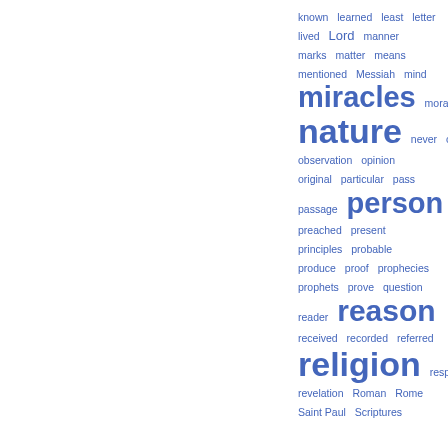[Figure (other): Word cloud / index tag cloud showing theological and philosophical terms in varying font sizes, displayed in blue text on white background. Larger words indicate higher frequency. Words include: known, learned, least, letter, lived, Lord, manner, marks, matter, means, mentioned, Messiah, mind, miracles, moral, Moses, nature, never, objection, observation, opinion, original, particular, pass, passage, person, preached, present, principles, probable, produce, proof, prophecies, prophets, prove, question, reader, reason, received, recorded, referred, religion, respect, revelation, Roman, Rome, Saint Paul, Scriptures]